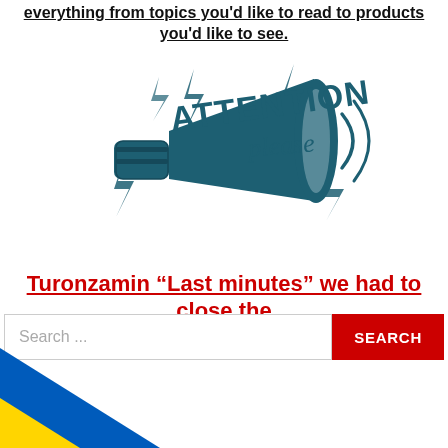everything from topics you'd like to read to products you'd like to see.
[Figure (illustration): Attention please graphic with a megaphone/loudspeaker and stylized text saying 'ATTENTION please' with lightning bolt decorations, rendered in dark teal/navy color]
Turonzamin “Last minutes” we had to close the forum due to spam
[Figure (other): Search bar with placeholder text 'Search ...' and a red SEARCH button]
[Figure (other): Ukrainian flag diagonal stripe decoration in bottom left corner (blue and yellow)]